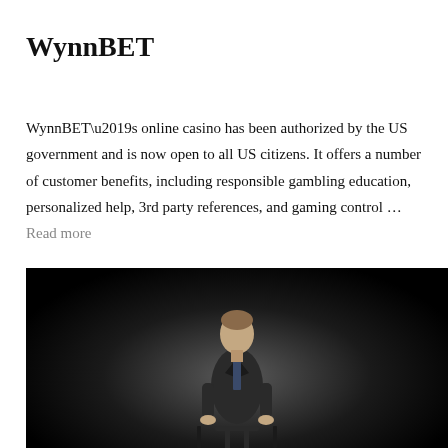WynnBET
WynnBET’s online casino has been authorized by the US government and is now open to all US citizens. It offers a number of customer benefits, including responsible gambling education, personalized help, 3rd party references, and gaming control … Read more
[Figure (photo): A man in a dark suit sitting on a stool, lit from above against a black background]